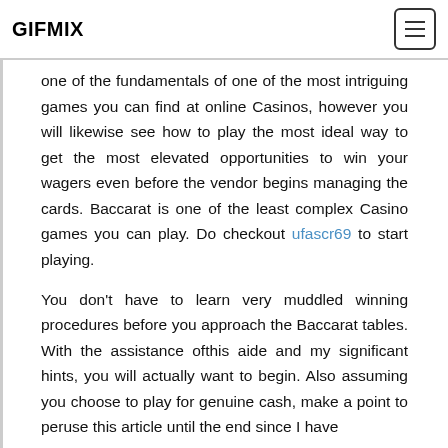GIFMIX
one of the fundamentals of one of the most intriguing games you can find at online Casinos, however you will likewise see how to play the most ideal way to get the most elevated opportunities to win your wagers even before the vendor begins managing the cards. Baccarat is one of the least complex Casino games you can play. Do checkout ufascr69 to start playing.
You don’t have to learn very muddled winning procedures before you approach the Baccarat tables. With the assistance ofthis aide and my significant hints, you will actually want to begin. Also assuming you choose to play for genuine cash, make a point to peruse this article until the end since I have